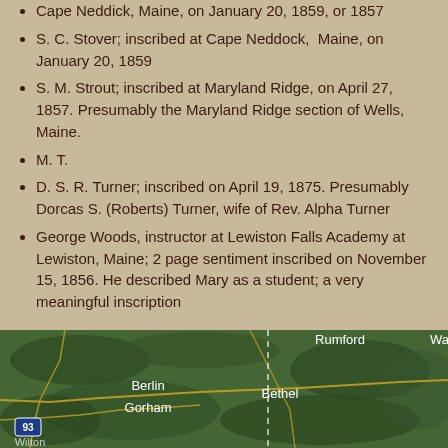Cape Neddick, Maine, on January 20, 1859, or 1857
S. C. Stover; inscribed at Cape Neddock, Maine, on January 20, 1859
S. M. Strout; inscribed at Maryland Ridge, on April 27, 1857. Presumably the Maryland Ridge section of Wells, Maine.
M. T.
D. S. R. Turner; inscribed on April 19, 1875. Presumably Dorcas S. (Roberts) Turner, wife of Rev. Alpha Turner
George Woods, instructor at Lewiston Falls Academy at Lewiston, Maine; 2 page sentiment inscribed on November 15, 1856. He described Mary as a student; a very meaningful inscription
[Figure (map): Satellite map showing part of Maine/New Hampshire region with towns labeled: Rumford, Berlin, Gorham, Bethel, and partially visible Water- label on right edge. Road/highway lines visible including route 93. Dashed lines indicate state boundaries.]